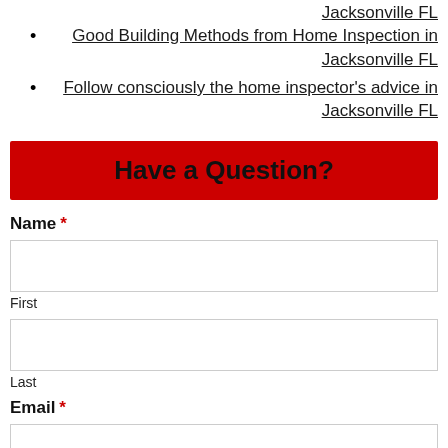Jacksonville FL
Good Building Methods from Home Inspection in Jacksonville FL
Follow consciously the home inspector's advice in Jacksonville FL
Have a Question?
Name *
First
Last
Email *
Phone